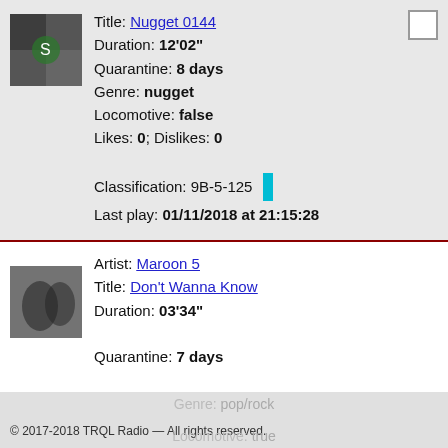Title: Nugget 0144
Duration: 12'02"
Quarantine: 8 days
Genre: nugget
Locomotive: false
Likes: 0; Dislikes: 0
Classification: 9B-5-125
Last play: 01/11/2018 at 21:15:28
Artist: Maroon 5
Title: Don't Wanna Know
Duration: 03'34"
Quarantine: 7 days
Genre: pop/rock
Locomotive: true
© 2017-2018 TRQL Radio — All rights reserved.